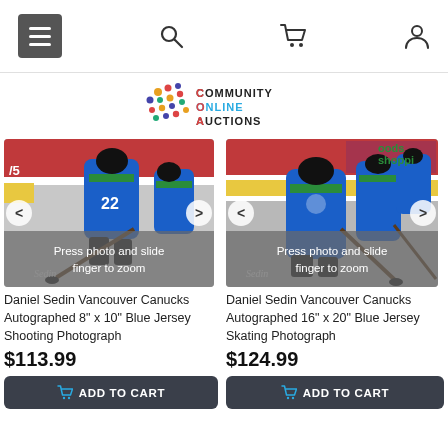Community Online Auctions - mobile website header with menu, search, cart, and account icons
[Figure (logo): Community Online Auctions logo with colorful dot pattern and text]
[Figure (photo): Daniel Sedin Vancouver Canucks hockey player in blue jersey shooting, autographed photo with zoom overlay]
[Figure (photo): Daniel Sedin Vancouver Canucks hockey player in blue jersey skating, autographed photo with zoom overlay]
Daniel Sedin Vancouver Canucks Autographed 8" x 10" Blue Jersey Shooting Photograph
Daniel Sedin Vancouver Canucks Autographed 16" x 20" Blue Jersey Skating Photograph
$113.99
$124.99
ADD TO CART
ADD TO CART